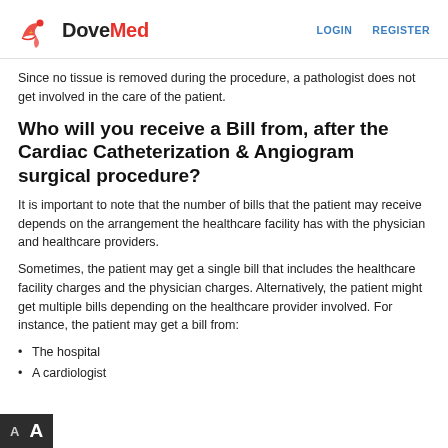DoveMed | LOGIN | REGISTER
Since no tissue is removed during the procedure, a pathologist does not get involved in the care of the patient.
Who will you receive a Bill from, after the Cardiac Catheterization & Angiogram surgical procedure?
It is important to note that the number of bills that the patient may receive depends on the arrangement the healthcare facility has with the physician and healthcare providers.
Sometimes, the patient may get a single bill that includes the healthcare facility charges and the physician charges. Alternatively, the patient might get multiple bills depending on the healthcare provider involved. For instance, the patient may get a bill from:
The hospital
A cardiologist